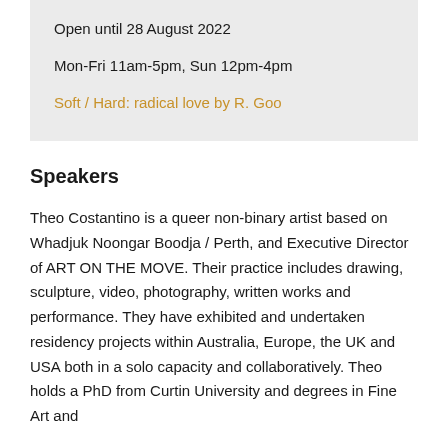Open until 28 August 2022
Mon-Fri 11am-5pm, Sun 12pm-4pm
Soft / Hard: radical love by R. Goo
Speakers
Theo Costantino is a queer non-binary artist based on Whadjuk Noongar Boodja / Perth, and Executive Director of ART ON THE MOVE. Their practice includes drawing, sculpture, video, photography, written works and performance. They have exhibited and undertaken residency projects within Australia, Europe, the UK and USA both in a solo capacity and collaboratively. Theo holds a PhD from Curtin University and degrees in Fine Art and